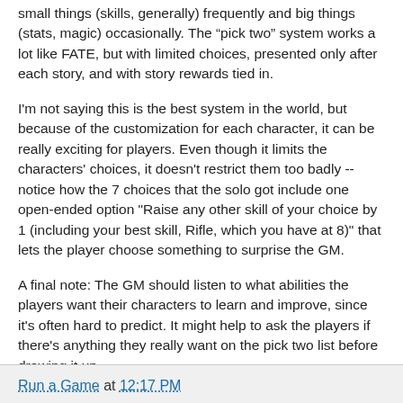small things (skills, generally) frequently and big things (stats, magic) occasionally.  The “pick two” system works a lot like FATE, but with limited choices, presented only after each story, and with story rewards tied in.
I'm not saying this is the best system in the world, but because of the customization for each character, it can be really exciting for players.  Even though it limits the characters' choices, it doesn't restrict them too badly -- notice how the 7 choices that the solo got include one open-ended option "Raise any other skill of your choice by 1 (including your best skill, Rifle, which you have at 8)" that lets the player choose something to surprise the GM.
A final note:  The GM should listen to what abilities the players want their characters to learn and improve, since it's often hard to predict. It might help to ask the players if there's anything they really want on the pick two list before drawing it up.
Run a Game at 12:17 PM